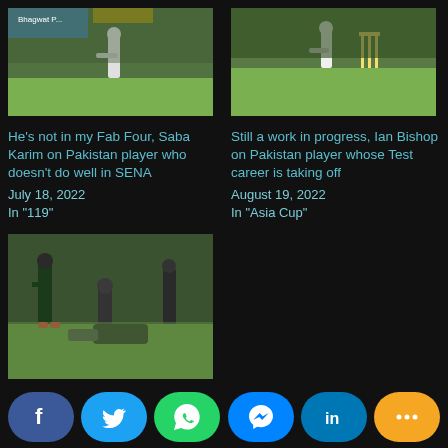[Figure (photo): Cricket player batting on green pitch with sponsor boards in background]
He's not in my Fab Four, Saba Karim on Pakistan player who doesn't do well in SENA
July 18, 2022
In "119"
[Figure (photo): Cricket player batting near wickets on green field]
Still a work in progress, Ian Bishop on Pakistan player whose Test career is taking off
August 19, 2022
In "Asia Cup"
[Figure (photo): Pakistan cricket team players during training session on green field]
Not performing as expected, Babar Azam calls out Pakistan star player who always gets picked
July 9, 2022